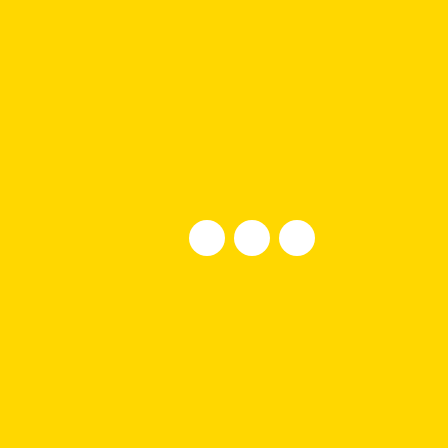[Figure (other): Solid bright yellow background with three white filled circles arranged horizontally near the center of the image, slightly below vertical center.]